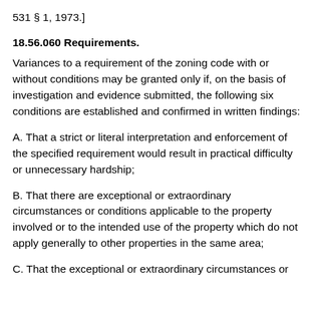531 § 1, 1973.]
18.56.060 Requirements.
Variances to a requirement of the zoning code with or without conditions may be granted only if, on the basis of investigation and evidence submitted, the following six conditions are established and confirmed in written findings:
A. That a strict or literal interpretation and enforcement of the specified requirement would result in practical difficulty or unnecessary hardship;
B. That there are exceptional or extraordinary circumstances or conditions applicable to the property involved or to the intended use of the property which do not apply generally to other properties in the same area;
C. That the exceptional or extraordinary circumstances or